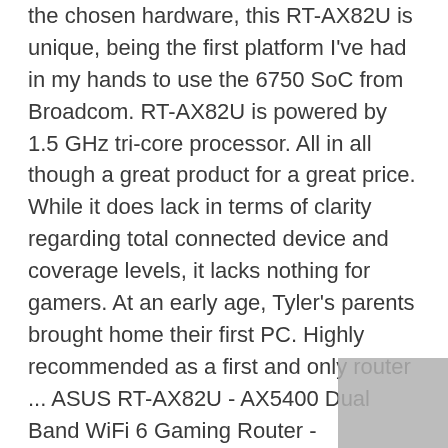the chosen hardware, this RT-AX82U is unique, being the first platform I've had in my hands to use the 6750 SoC from Broadcom. RT-AX82U is powered by 1.5 GHz tri-core processor. All in all though a great product for a great price. While it does lack in terms of clarity regarding total connected device and coverage levels, it lacks nothing for gamers. At an early age, Tyler's parents brought home their first PC. Highly recommended as a first and only router ... ASUS RT-AX82U - AX5400 Dual Band WiFi 6 Gaming Router - 802.11a/b/g/n/ac/ax - De 4718017648622 | eBay This Wi-Fi Router is spec'd out two ways, the first for those with Wi-Fi 6 client solutions will have 574 Mbps capability on the 2.4GHz band and 4804Mbps on the 5GHz band. As for pricing, the AX82U is coming in at $299.99 MSRP which still isn't cheap by any means, but this is the sweet spot for features build quality and performance I feel because you get a fully capable 5GHz band with a 4x4 radio, though this model is missing multi-gig support. Once in, we have the